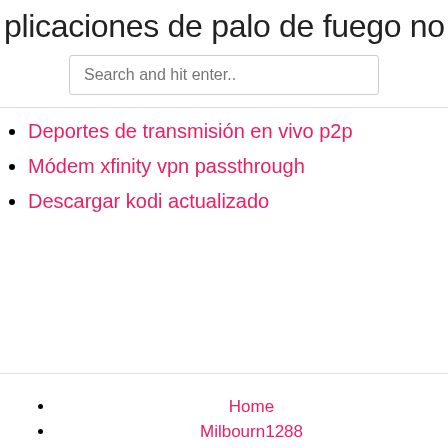plicaciones de palo de fuego no apa
Search and hit enter..
Deportes de transmisión en vivo p2p
Módem xfinity vpn passthrough
Descargar kodi actualizado
Home
Milbourn1288
Vicic79725